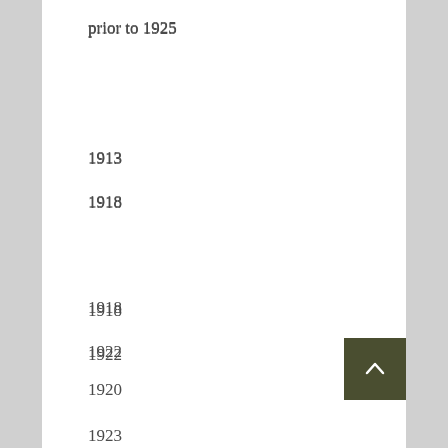prior to 1925
1913
1918
1918
1922
1920
1923